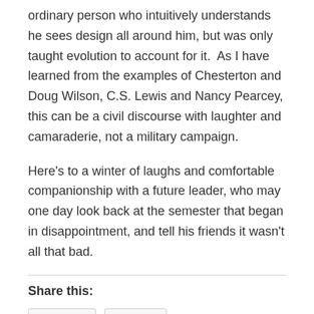ordinary person who intuitively understands he sees design all around him, but was only taught evolution to account for it.  As I have learned from the examples of Chesterton and Doug Wilson, C.S. Lewis and Nancy Pearcey, this can be a civil discourse with laughter and camaraderie, not a military campaign.
Here's to a winter of laughs and comfortable companionship with a future leader, who may one day look back at the semester that began in disappointment, and tell his friends it wasn't all that bad.
Share this:
Email
Print
Loading...